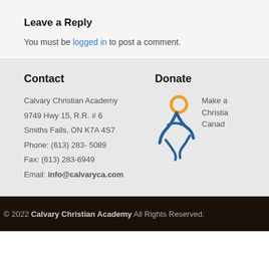Leave a Reply
You must be logged in to post a comment.
Contact
Calvary Christian Academy
9749 Hwy 15, R.R. # 6
Smiths Falls, ON K7A 4S7
Phone: (613) 283- 5089
Fax: (613) 283-6949
Email: info@calvaryca.com
Donate
[Figure (logo): Calvary Christian Academy logo — a stylized blue figure with an orange circle head]
Make a
Christia
Canad
© 2022 Calvary Christian Academy All Rights Reserved.